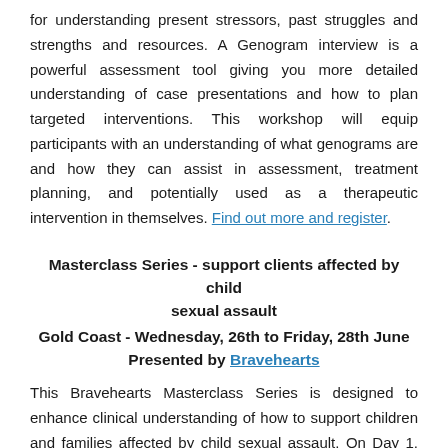for understanding present stressors, past struggles and strengths and resources. A Genogram interview is a powerful assessment tool giving you more detailed understanding of case presentations and how to plan targeted interventions. This workshop will equip participants with an understanding of what genograms are and how they can assist in assessment, treatment planning, and potentially used as a therapeutic intervention in themselves. Find out more and register.
Masterclass Series - support clients affected by child sexual assault
Gold Coast - Wednesday, 26th to Friday, 28th June
Presented by Bravehearts
This Bravehearts Masterclass Series is designed to enhance clinical understanding of how to support children and families affected by child sexual assault. On Day 1, participants will gain an understanding of child sexual